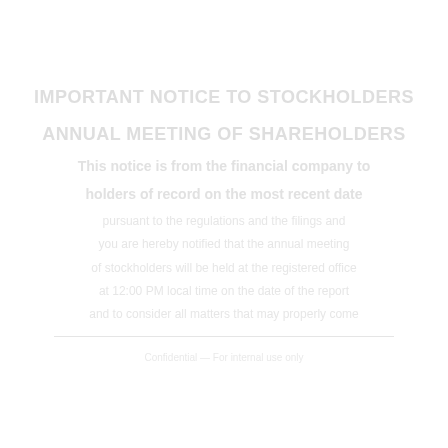IMPORTANT NOTICE TO STOCKHOLDERS
ANNUAL MEETING OF SHAREHOLDERS
This notice is from the financial company to
holders of record on the most recent date
pursuant to the regulations and the filings and
you are hereby notified that the annual meeting
of stockholders will be held at the registered office
at 12:00 PM local time on the date of the report
and to consider all matters that may properly come
Confidential — For internal use only